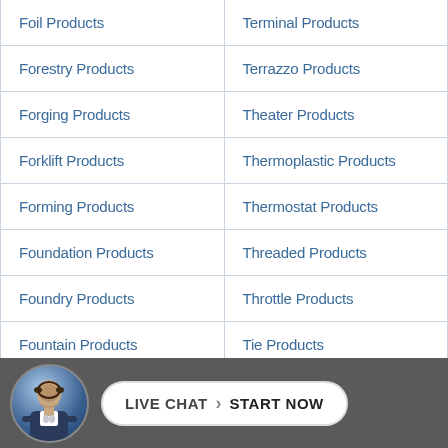| Foil Products | Terminal Products |
| Forestry Products | Terrazzo Products |
| Forging Products | Theater Products |
| Forklift Products | Thermoplastic Products |
| Forming Products | Thermostat Products |
| Foundation Products | Threaded Products |
| Foundry Products | Throttle Products |
| Fountain Products | Tie Products |
| Freight Products | Timber Products |
| Fria... Products |  |
[Figure (other): Live chat widget bar at the bottom with a headshot avatar of a man in a suit and a button reading 'LIVE CHAT > START NOW']